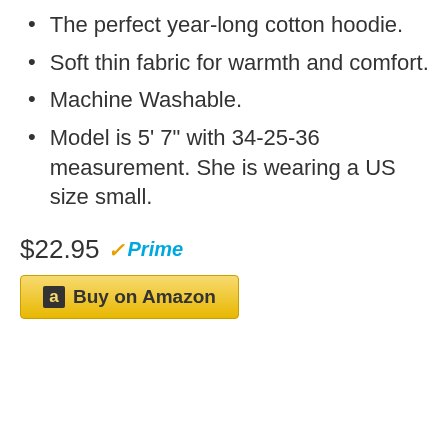The perfect year-long cotton hoodie.
Soft thin fabric for warmth and comfort.
Machine Washable.
Model is 5' 7" with 34-25-36 measurement. She is wearing a US size small.
$22.95 Prime
Buy on Amazon